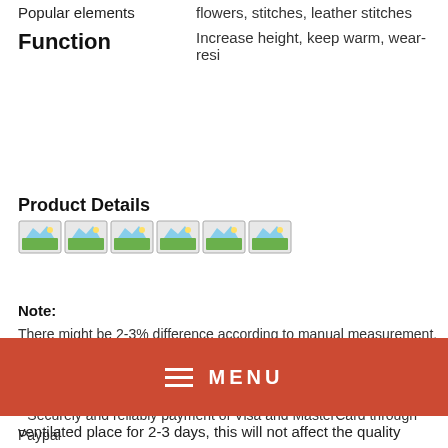| Popular elements | flowers, stitches, leather stitches |
| Function | Increase height, keep warm, wear-resi |
Product Details
[Figure (illustration): Six small image thumbnail icons representing product detail photos]
Note:
There might be 2-3% difference according to manual measurement. Please check the measurement chart carefully before you buy the item. Please note that slight color difference should be acceptable due to the light and screen.
* Securely and reliably payment of Visa and MasterCard through Paypal
[Figure (infographic): Red menu bar with hamburger icon and MENU text in white]
ventilated place for 2-3 days, this will not affect the quality